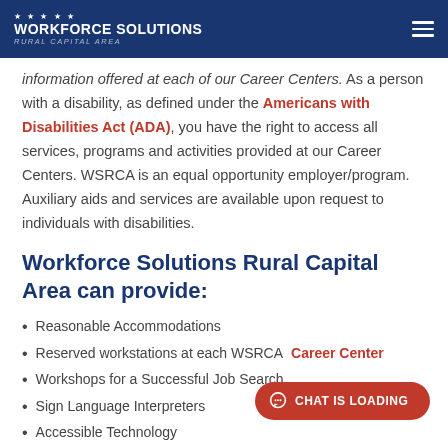WORKFORCE SOLUTIONS RURAL CAPITAL AREA
information offered at each of our Career Centers. As a person with a disability, as defined under the Americans with Disabilities Act (ADA), you have the right to access all services, programs and activities provided at our Career Centers. WSRCA is an equal opportunity employer/program. Auxiliary aids and services are available upon request to individuals with disabilities.
Workforce Solutions Rural Capital Area can provide:
Reasonable Accommodations
Reserved workstations at each WSRCA Career Center
Workshops for a Successful Job Search
Sign Language Interpreters
Accessible Technology